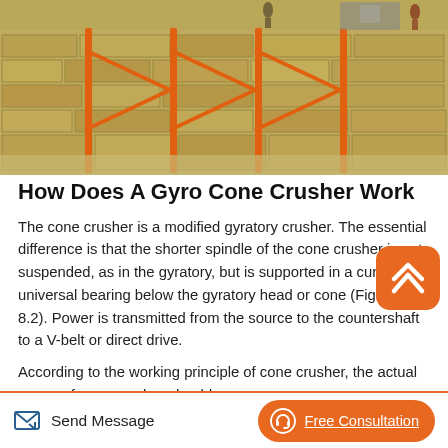[Figure (photo): Aerial/ground view of a quarry or mining site showing rock/stone walls, orange scaffolding or support poles, and crusher machinery in the background.]
How Does A Gyro Cone Crusher Work
The cone crusher is a modified gyratory crusher. The essential difference is that the shorter spindle of the cone crusher is not suspended, as in the gyratory, but is supported in a curved, universal bearing below the gyratory head or cone (Figure 8.2). Power is transmitted from the source to the countershaft to a V-belt or direct drive.
According to the working principle of cone crusher, the actual power of cone crusher should
Send Message   Free Consultation